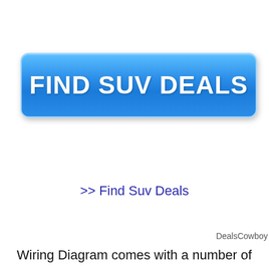[Figure (other): Blue rounded rectangle button with bold white text reading FIND SUV DEALS]
>> Find Suv Deals
DealsCowboy
Wiring Diagram comes with a number of easy to follow Wiring Diagram Guidelines. It is meant to